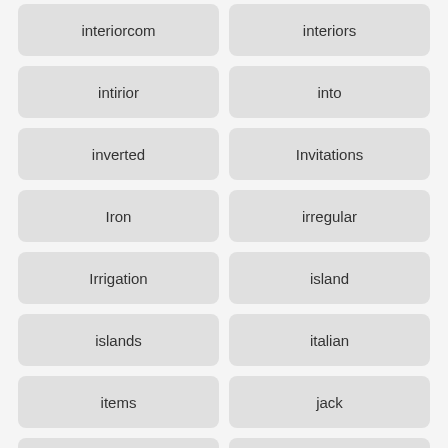interiorcom
interiors
intirior
into
inverted
Invitations
Iron
irregular
Irrigation
island
islands
italian
items
jack
jacksonville
jacobsen
japan
japanese
jasmine
jason